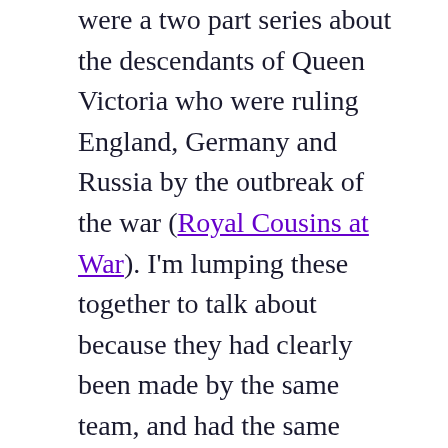were a two part series about the descendants of Queen Victoria who were ruling England, Germany and Russia by the outbreak of the war (Royal Cousins at War). I'm lumping these together to talk about because they had clearly been made by the same team, and had the same format and aesthetic. Each one had a (faceless) narrator, as well as a selection of experts on the subject, and they were very focussed on the biography of the individuals and how that intersected with the politics. At times that did make us feel they overstated the importance of (for instance) the English King in the politics of the day but mostly it stayed on the right side of the line.
The opinions of all the experts were presented